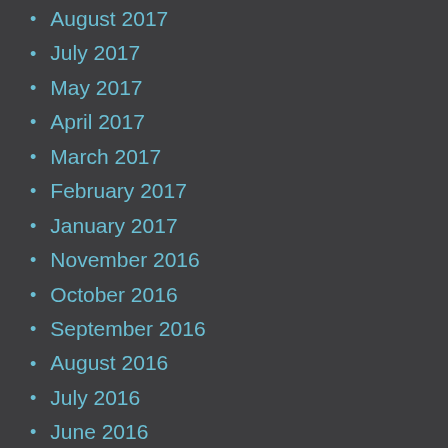August 2017
July 2017
May 2017
April 2017
March 2017
February 2017
January 2017
November 2016
October 2016
September 2016
August 2016
July 2016
June 2016
May 2016
April 2016
March 2016
February 2016
January 2016
December 2015